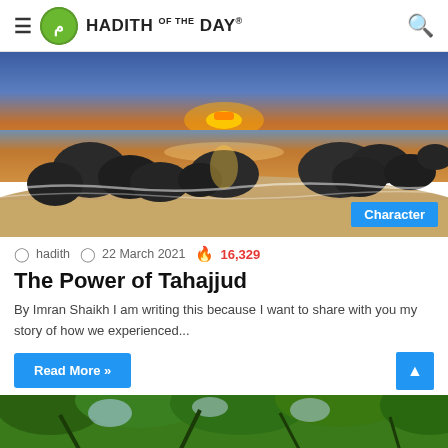≡ HADITH OF THE DAY 🔍
[Figure (photo): Sunset beach scene with large dark rocks on sandy shore, ocean waves, colorful sky with blue and orange hues. Category badge 'Character' in bottom right corner.]
hadith  22 March 2021  🔥 16,329
The Power of Tahajjud
By Imran Shaikh I am writing this because I want to share with you my story of how we experienced...
Read More »
[Figure (photo): Partial view of next article's header image showing green tree canopy from below.]